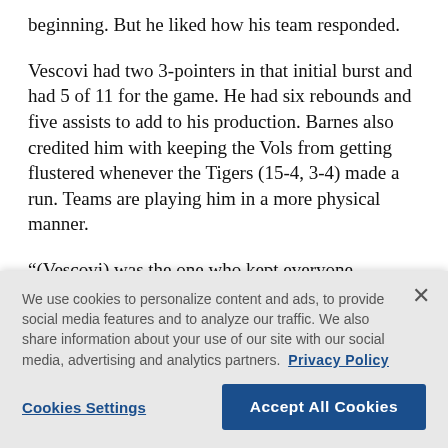beginning. But he liked how his team responded.
Vescovi had two 3-pointers in that initial burst and had 5 of 11 for the game. He had six rebounds and five assists to add to his production. Barnes also credited him with keeping the Vols from getting flustered whenever the Tigers (15-4, 3-4) made a run. Teams are playing him in a more physical manner.
“(Vescovi) was the one who kept everyone organized,” Barnes said. “If we continue to be organized, we’ll be fine on the offensive end.”
We use cookies to personalize content and ads, to provide social media features and to analyze our traffic. We also share information about your use of our site with our social media, advertising and analytics partners. Privacy Policy